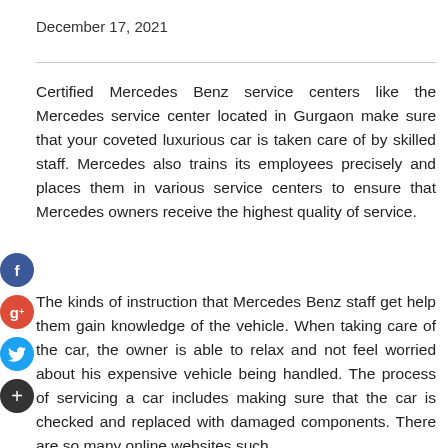December 17, 2021
Certified Mercedes Benz service centers like the Mercedes service center located in Gurgaon make sure that your coveted luxurious car is taken care of by skilled staff. Mercedes also trains its employees precisely and places them in various service centers to ensure that Mercedes owners receive the highest quality of service.
The kinds of instruction that Mercedes Benz staff get help them gain knowledge of the vehicle. When taking care of the car, the owner is able to relax and not feel worried about his expensive vehicle being handled. The process of servicing a car includes making sure that the car is checked and replaced with damaged components. There are so many online websites such